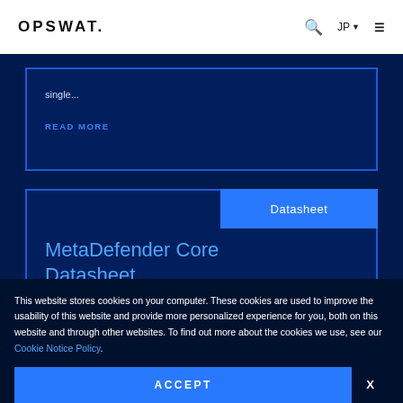OPSWAT. [search] JP [menu]
single...
READ MORE
MetaDefender Core Datasheet
Datasheet
This website stores cookies on your computer. These cookies are used to improve the usability of this website and provide more personalized experience for you, both on this website and through other websites. To find out more about the cookies we use, see our Cookie Notice Policy.
ACCEPT
X